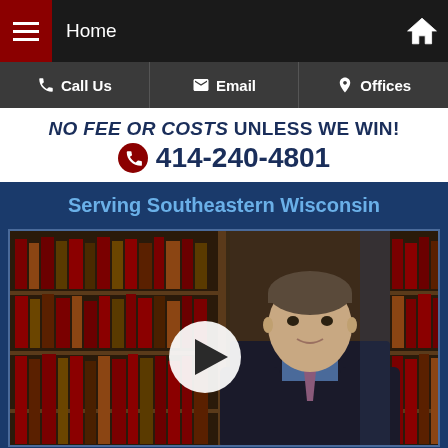Home
Call Us | Email | Offices
NO FEE OR COSTS UNLESS WE WIN! 414-240-4801
Serving Southeastern Wisconsin
[Figure (photo): Attorney standing in front of law book shelves with a video play button overlay]
Call now